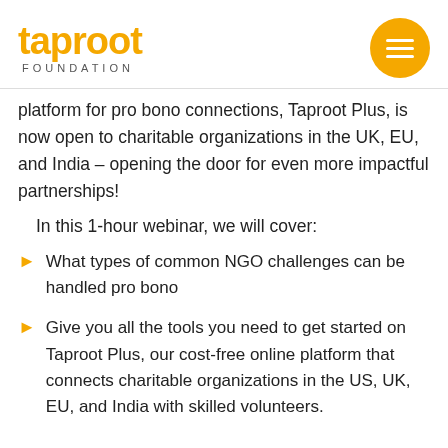taproot FOUNDATION
platform for pro bono connections, Taproot Plus, is now open to charitable organizations in the UK, EU, and India – opening the door for even more impactful partnerships!
In this 1-hour webinar, we will cover:
What types of common NGO challenges can be handled pro bono
Give you all the tools you need to get started on Taproot Plus, our cost-free online platform that connects charitable organizations in the US, UK, EU, and India with skilled volunteers.